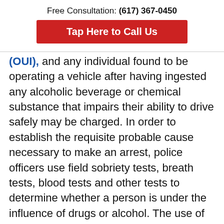Free Consultation: (617) 367-0450
[Figure (other): Red call-to-action button reading 'Tap Here to Call Us']
(OUI), and any individual found to be operating a vehicle after having ingested any alcoholic beverage or chemical substance that impairs their ability to drive safely may be charged. In order to establish the requisite probable cause necessary to make an arrest, police officers use field sobriety tests, breath tests, blood tests and other tests to determine whether a person is under the influence of drugs or alcohol. The use of Field Sobriety Tests has become an increasingly regular routine in the United States, as they allow police officers to make roadside determinations of impairment in the field.